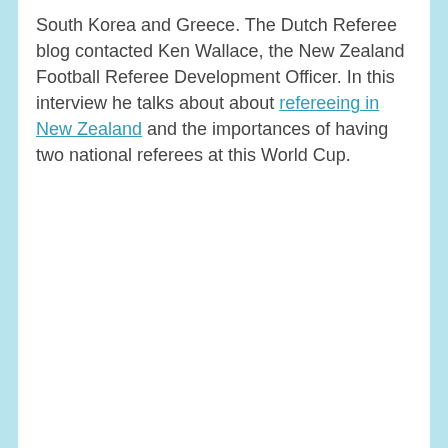South Korea and Greece. The Dutch Referee blog contacted Ken Wallace, the New Zealand Football Referee Development Officer. In this interview he talks about about refereeing in New Zealand and the importances of having two national referees at this World Cup.